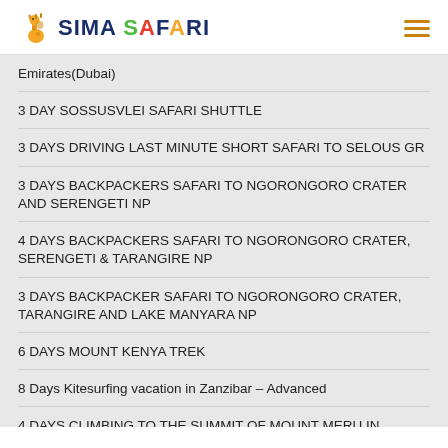SIMA SAFARI
Emirates(Dubai)
3 DAY SOSSUSVLEI SAFARI SHUTTLE
3 DAYS DRIVING LAST MINUTE SHORT SAFARI TO SELOUS GR
3 DAYS BACKPACKERS SAFARI TO NGORONGORO CRATER AND SERENGETI NP
4 DAYS BACKPACKERS SAFARI TO NGORONGORO CRATER, SERENGETI & TARANGIRE NP
3 DAYS BACKPACKER SAFARI TO NGORONGORO CRATER, TARANGIRE AND LAKE MANYARA NP
6 DAYS MOUNT KENYA TREK
8 Days Kitesurfing vacation in Zanzibar – Advanced
4 DAYS CLIMBING TO THE SUMMIT OF MOUNT MERU IN TANZANIA